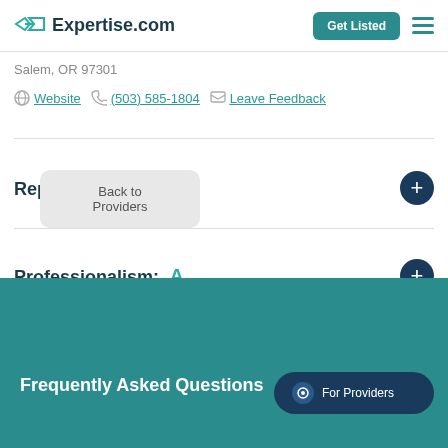Expertise.com | Get Listed
Salem, OR 97301
Website  (503) 585-1804  Leave Feedback
Reputation: A+
Professionalism: A
Back to Providers
Frequently Asked Questions
For Providers